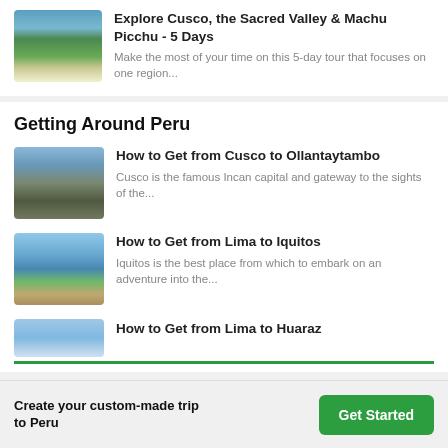[Figure (photo): Llama lying in a green field with mountains in background]
Explore Cusco, the Sacred Valley & Machu Picchu - 5 Days
Make the most of your time on this 5-day tour that focuses on one region...
Getting Around Peru
[Figure (photo): Rocky mountain peak with town below]
How to Get from Cusco to Ollantaytambo
Cusco is the famous Incan capital and gateway to the sights of the...
[Figure (photo): River and thatched huts near water]
How to Get from Lima to Iquitos
Iquitos is the best place from which to embark on an adventure into the...
[Figure (photo): Coastal scene partially visible]
How to Get from Lima to Huaraz
Create your custom-made trip to Peru
Get Started